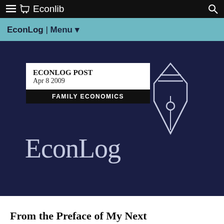Econlib
EconLog | Menu
[Figure (screenshot): EconLog blog hero banner on dark navy background. Shows a white box labeled 'ECONLOG POST Apr 8 2009' with a black bar reading 'FAMILY ECONOMICS'. Below is the EconLog wordmark in light blue-grey serif font, and a pen nib icon to the right.]
From the Preface of My Next